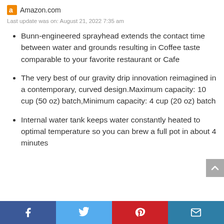Amazon.com
Last update was on: August 21, 2022 7:35 am
Bunn-engineered sprayhead extends the contact time between water and grounds resulting in Coffee taste comparable to your favorite restaurant or Cafe
The very best of our gravity drip innovation reimagined in a contemporary, curved design.Maximum capacity: 10 cup (50 oz) batch,Minimum capacity: 4 cup (20 oz) batch
Internal water tank keeps water constantly heated to optimal temperature so you can brew a full pot in about 4 minutes
Facebook | Twitter | Pinterest | Email